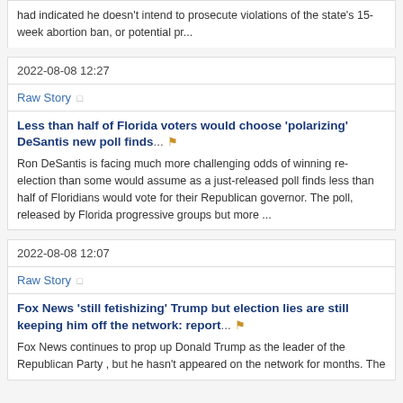had indicated he doesn't intend to prosecute violations of the state's 15-week abortion ban, or potential pr...
2022-08-08 12:27
Raw Story
Less than half of Florida voters would choose 'polarizing' DeSantis new poll finds...
Ron DeSantis is facing much more challenging odds of winning re-election than some would assume as a just-released poll finds less than half of Floridians would vote for their Republican governor. The poll, released by Florida progressive groups but more ...
2022-08-08 12:07
Raw Story
Fox News 'still fetishizing' Trump but election lies are still keeping him off the network: report...
Fox News continues to prop up Donald Trump as the leader of the Republican Party , but he hasn't appeared on the network for months. The